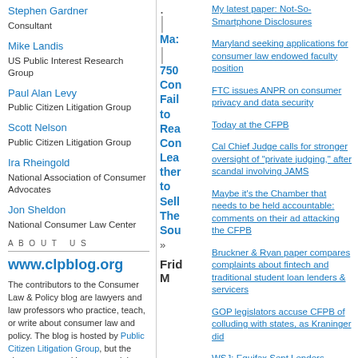Stephen Gardner
Consultant
Mike Landis
US Public Interest Research Group
Paul Alan Levy
Public Citizen Litigation Group
Scott Nelson
Public Citizen Litigation Group
Ira Rheingold
National Association of Consumer Advocates
Jon Sheldon
National Consumer Law Center
ABOUT US
www.clpblog.org
The contributors to the Consumer Law & Policy blog are lawyers and law professors who practice, teach, or write about consumer law and policy. The blog is hosted by Public Citizen Litigation Group, but the views expressed here are solely those of the
.
|
Ma:
|
750
Con
Fail
to
Rea
Con
Lea
ther
to
Sell
The
Sou
»
Frid
M
My latest paper: Not-So-Smartphone Disclosures
Maryland seeking applications for consumer law endowed faculty position
FTC issues ANPR on consumer privacy and data security
Today at the CFPB
Cal Chief Judge calls for stronger oversight of "private judging," after scandal involving JAMS
Maybe it's the Chamber that needs to be held accountable: comments on their ad attacking the CFPB
Bruckner & Ryan paper compares complaints about fintech and traditional student loan lenders & servicers
GOP legislators accuse CFPB of colluding with states, as Kraninger did
WSJ: Equifax Sent Lenders Inaccurate Credit Scores on Millions of Consumers
Unfairness and Disparate Effects